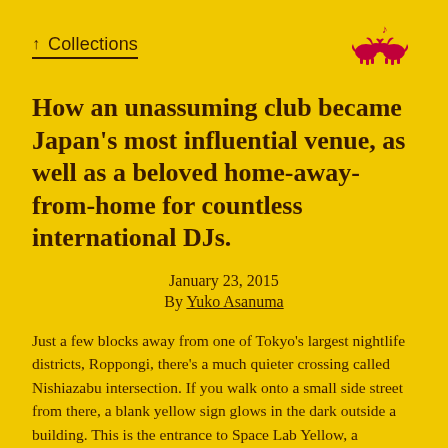↑ Collections
How an unassuming club became Japan's most influential venue, as well as a beloved home-away-from-home for countless international DJs.
January 23, 2015
By Yuko Asanuma
Just a few blocks away from one of Tokyo's largest nightlife districts, Roppongi, there's a much quieter crossing called Nishiazabu intersection. If you walk onto a small side street from there, a blank yellow sign glows in the dark outside a building. This is the entrance to Space Lab Yellow, a nightclub more widely known simply as Yellow.
	Open the heavy thick door, and you'll be greeted by a staircase made of encased marbles leading you down to a